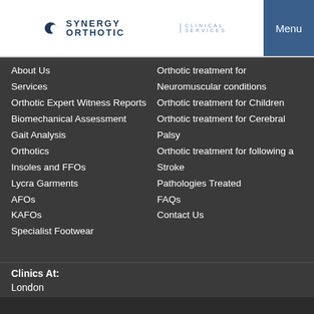SYNERGY ORTHOTIC | CLINICAL SERVICES | Menu
About Us
Services
Orthotic Expert Witness Reports
Biomechanical Assessment
Gait Analysis
Orthotics
Insoles and FFOs
Lycra Garments
AFOs
KAFOs
Specialist Footwear
Orthotic treatment for
Neuromuscular conditions
Orthotic treatment for Children
Orthotic treatment for Cerebral Palsy
Orthotic treatment for following a Stroke
Pathologies Treated
FAQs
Contact Us
Clinics At:
London